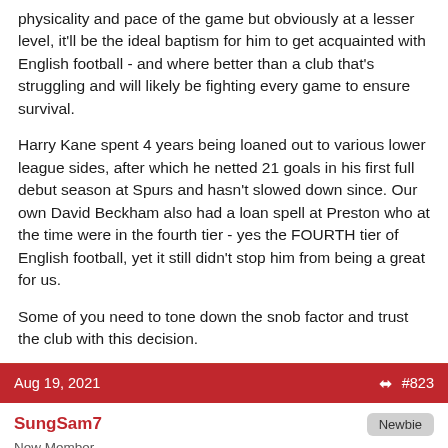physicality and pace of the game but obviously at a lesser level, it'll be the ideal baptism for him to get acquainted with English football - and where better than a club that's struggling and will likely be fighting every game to ensure survival.

Harry Kane spent 4 years being loaned out to various lower league sides, after which he netted 21 goals in his first full debut season at Spurs and hasn't slowed down since. Our own David Beckham also had a loan spell at Preston who at the time were in the fourth tier - yes the FOURTH tier of English football, yet it still didn't stop him from being a great for us.

Some of you need to tone down the snob factor and trust the club with this decision.
Aug 19, 2021  #823
SungSam7  Newbie
New Member